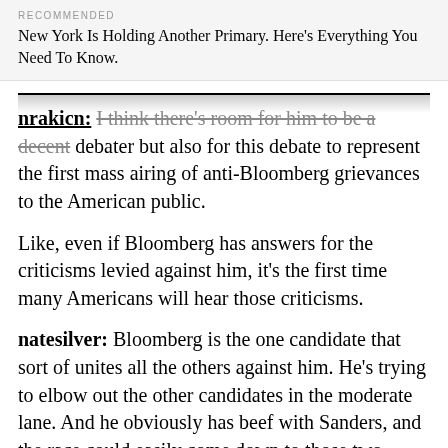RECOMMENDED
New York Is Holding Another Primary. Here's Everything You Need To Know.
nrakicn: I think there's room for him to be a decent debater but also for this debate to represent the first mass airing of anti-Bloomberg grievances to the American public.
Like, even if Bloomberg has answers for the criticisms levied against him, it's the first time many Americans will hear those criticisms.
natesilver: Bloomberg is the one candidate that sort of unites all the others against him. He's trying to elbow out the other candidates in the moderate lane. And he obviously has beef with Sanders, and the race could easily come down to those two.
kaleigh: That's true. I just wonder if a debate-long